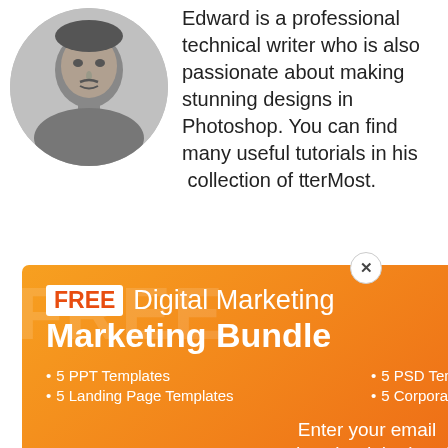[Figure (photo): Black and white circular portrait photo of a man (Edward)]
Edward is a professional technical writer who is also passionate about making stunning designs in Photoshop. You can find many useful tutorials in his collection of TterMost.
[Figure (infographic): Orange/red gradient popup advertisement for FREE Digital Marketing Bundle offering 5 PPT Templates, 5 Landing Page Templates, 5 PSD Templates, 5 Corporate Identity Templates, with email input field and Get Bundle button]
FREE Digital Marketing Bundle
5 PPT Templates
5 Landing Page Templates
5 PSD Templates
5 Corporate Identity Templates
Enter your email to download the bundle
email
ccess exclusive to MonsterPost
Email Address
Join Now